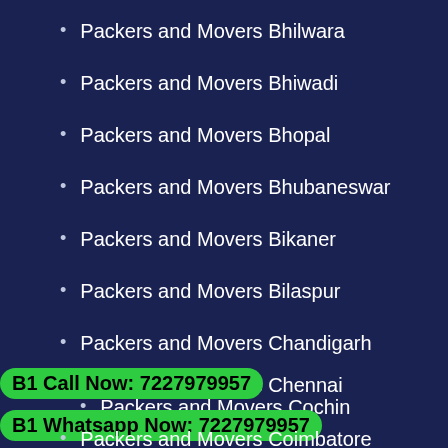Packers and Movers Bhilwara
Packers and Movers Bhiwadi
Packers and Movers Bhopal
Packers and Movers Bhubaneswar
Packers and Movers Bikaner
Packers and Movers Bilaspur
Packers and Movers Chandigarh
Packers and Movers Chennai
B1 Call Now: 7227979957
Packers and Movers Cochin
B1 Whatsapp Now: 7227979957
Packers and Movers Coimbatore